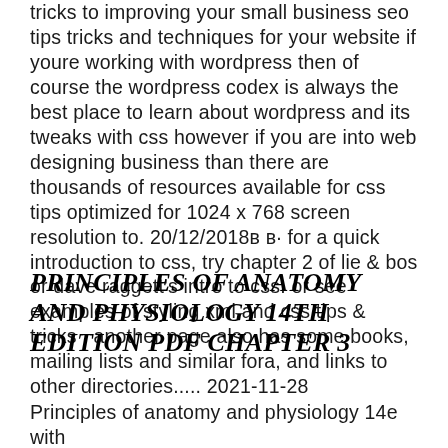tricks to improving your small business seo tips tricks and techniques for your website if youre working with wordpress then of course the wordpress codex is always the best place to learn about wordpress and its tweaks with css however if you are into web designing business than there are thousands of resources available for css tips optimized for 1024 x 768 screen resolution to. 20/12/2018в в· for a quick introduction to css, try chapter 2 of lie & bos or dave raggett's intro to css. or see examples of styling xml and css tips & tricks . another page also has some books, mailing lists and similar fora, and links to other directories..... 2021-11-28
PRINCIPLES OF ANATOMY AND PHYSIOLOGY 14TH EDITION PDF CHAPTER 3
Principles of anatomy and physiology 14e with